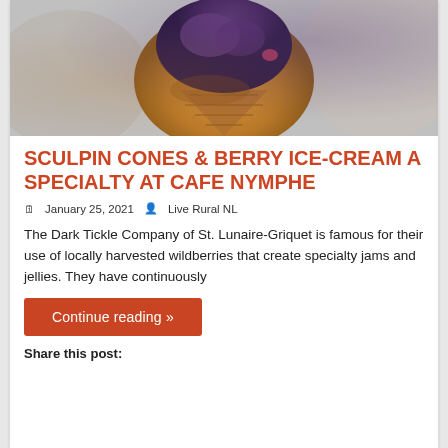[Figure (photo): Close-up photo of a sculpin-shaped waffle cone filled with purple/berry ice cream, held in someone's hand]
SCULPIN CONES & BERRY ICE-CREAM A SPECIALTY AT CAFE NYMPHE
January 25, 2021   Live Rural NL
The Dark Tickle Company of St. Lunaire-Griquet is famous for their use of locally harvested wildberries that create specialty jams and jellies. They have continuously
Continue reading »
Share this post: